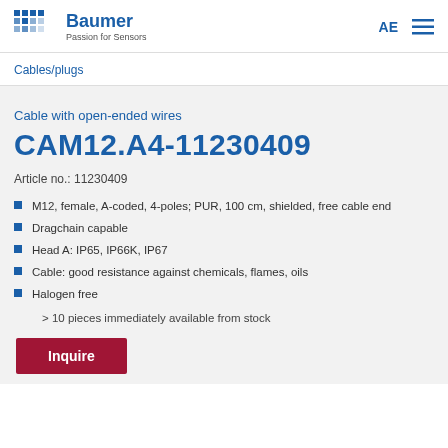Baumer Passion for Sensors | AE
Cables/plugs
Cable with open-ended wires
CAM12.A4-11230409
Article no.: 11230409
M12, female, A-coded, 4-poles; PUR, 100 cm, shielded, free cable end
Dragchain capable
Head A: IP65, IP66K, IP67
Cable: good resistance against chemicals, flames, oils
Halogen free
> 10 pieces immediately available from stock
Inquire